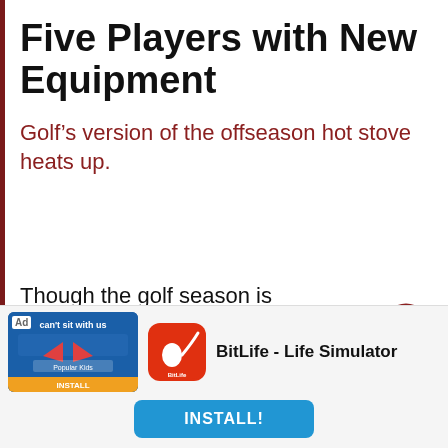Five Players with New Equipment
Golf’s version of the offseason hot stove heats up.
Though the golf season is in the midst of the Florida Swing, there hasn’t been much going on with golf early on. The biggest story, in fact, was one about
[Figure (logo): Trap Five logo in handwritten style text, green and red colors]
[Figure (infographic): Advertisement banner for BitLife - Life Simulator app with install button]